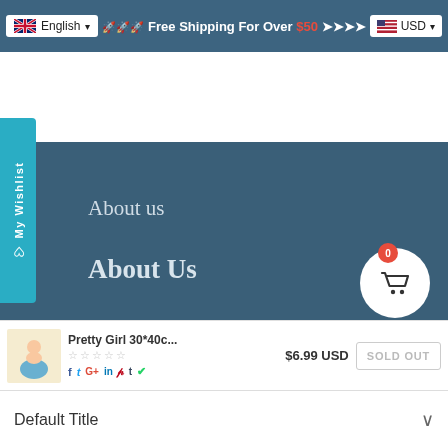🇬🇧 English ▾   🚀🚀🚀 Free Shipping For Over $50 ➤➤➤➤   🇺🇸 USD▾
My Wishlist
About us
About Us
Terms of Service
Privacy Policy
Pretty Girl 30*40c...  $6.99 USD  SOLD OUT
Default Title